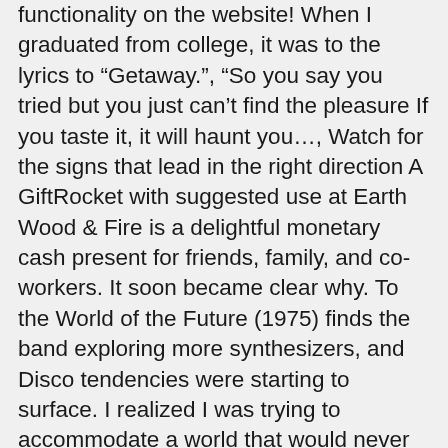functionality on the website! When I graduated from college, it was to the lyrics to “Getaway.”, “So you say you tried but you just can’t find the pleasure If you taste it, it will haunt you…, Watch for the signs that lead in the right direction A GiftRocket with suggested use at Earth Wood & Fire is a delightful monetary cash present for friends, family, and co-workers. It soon became clear why. To the World of the Future (1975) finds the band exploring more synthesizers, and Disco tendencies were starting to surface. I realized I was trying to accommodate a world that would never accept me. In The Gift of Fire, passion, commitment, exquisite reasoning, and Mitchell’s… Save my name, email, and website in this browser for the next time I comment. The town had been a static farming community for centuries—and in the late 60’s and early 70’s it still remained smug, self-satisfied, and ignorant of any other way of life. Why don’t you listen to these words of heed... You’re a shining star Simply type the URL of the